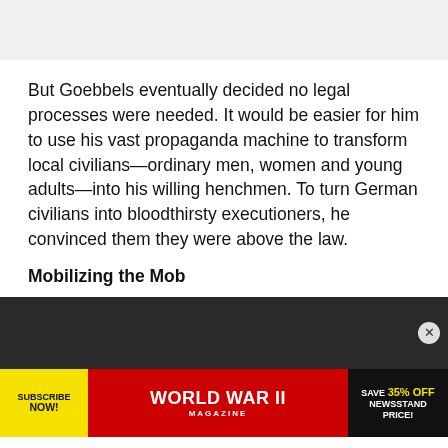But Goebbels eventually decided no legal processes were needed. It would be easier for him to use his vast propaganda machine to transform local civilians—ordinary men, women and young adults—into his willing henchmen. To turn German civilians into bloodthirsty executioners, he convinced them they were above the law.
Mobilizing the Mob
[Figure (photo): Dark historical photograph, partially visible]
[Figure (infographic): Advertisement bar: Subscribe Now (yellow circle), World War II Magazine (red background, white text), Save 35% Off Newsstand Price! (black background, yellow and white text)]